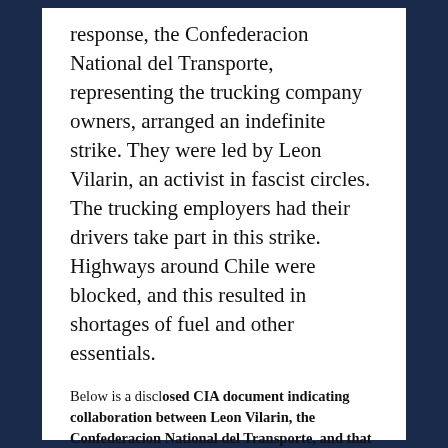response, the Confederacion National del Transporte, representing the trucking company owners, arranged an indefinite strike. They were led by Leon Vilarin, an activist in fascist circles. The trucking employers had their drivers take part in this strike. Highways around Chile were blocked, and this resulted in shortages of fuel and other essentials.
Below is a disclosed CIA document indicating collaboration between Leon Vilarin, the Confederacion National del Transporte, and that a coup was already being planned. Note that research has revealed that information about this has been removed from the Internet "at request of government".